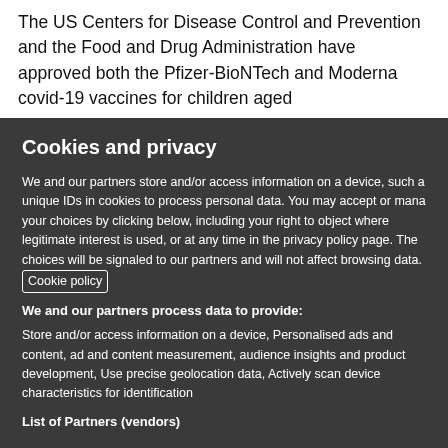The US Centers for Disease Control and Prevention and the Food and Drug Administration have approved both the Pfizer-BioNTech and Moderna covid-19 vaccines for children aged
Cookies and privacy
We and our partners store and/or access information on a device, such as unique IDs in cookies to process personal data. You may accept or manage your choices by clicking below, including your right to object where legitimate interest is used, or at any time in the privacy policy page. These choices will be signaled to our partners and will not affect browsing data. Cookie policy
We and our partners process data to provide:
Store and/or access information on a device, Personalised ads and content, ad and content measurement, audience insights and product development, Use precise geolocation data, Actively scan device characteristics for identification
List of Partners (vendors)
I Accept